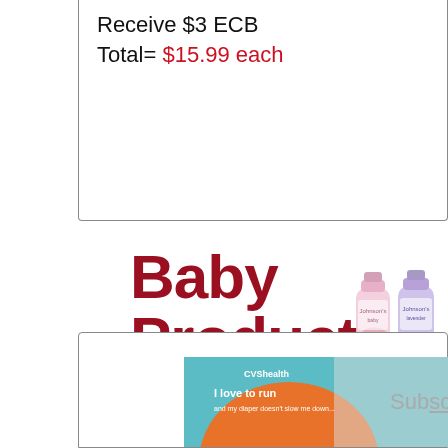Receive $3 ECB
Total= $15.99 each
Baby Products
[Figure (photo): Two Johnson's baby product bottles (pink/lavender) side by side]
[Figure (photo): CVS Health ad with orange pill shape on teal background; text: I love to run, Subscribe, X close button]